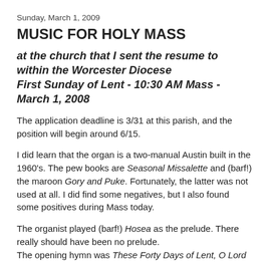Sunday, March 1, 2009
MUSIC FOR HOLY MASS
at the church that I sent the resume to within the Worcester Diocese First Sunday of Lent - 10:30 AM Mass - March 1, 2008
The application deadline is 3/31 at this parish, and the position will begin around 6/15.
I did learn that the organ is a two-manual Austin built in the 1960's. The pew books are Seasonal Missalette and (barf!) the maroon Gory and Puke. Fortunately, the latter was not used at all. I did find some negatives, but I also found some positives during Mass today.
The organist played (barf!) Hosea as the prelude. There really should have been no prelude.
The opening hymn was These Forty Days of Lent, O Lord